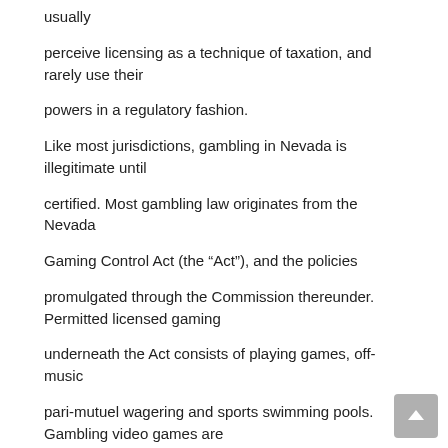usually
perceive licensing as a technique of taxation, and rarely use their
powers in a regulatory fashion.
Like most jurisdictions, gambling in Nevada is illegitimate until
certified. Most gambling law originates from the Nevada
Gaming Control Act (the “Act”), and the policies
promulgated through the Commission thereunder. Permitted licensed gaming
underneath the Act consists of playing games, off-music
pari-mutuel wagering and sports swimming pools. Gambling video games are
widely described to consist of “any game performed with cards, dice,
gadget or any mechanical, electromechanical or electronic device